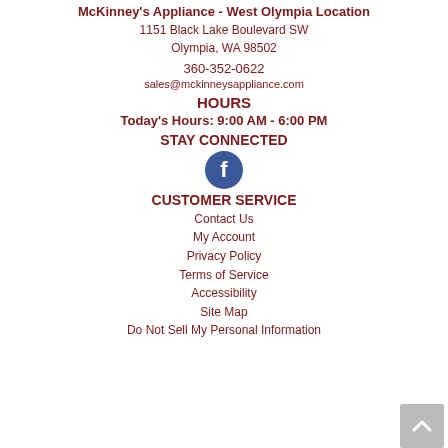McKinney's Appliance - West Olympia Location
1151 Black Lake Boulevard SW
Olympia, WA 98502
360-352-0622
sales@mckinneysappliance.com
HOURS
Today's Hours: 9:00 AM - 6:00 PM
STAY CONNECTED
[Figure (logo): Facebook icon — white lowercase f on a dark blue circular background]
CUSTOMER SERVICE
Contact Us
My Account
Privacy Policy
Terms of Service
Accessibility
Site Map
Do Not Sell My Personal Information